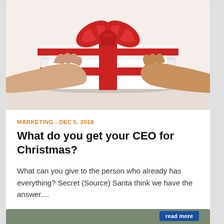[Figure (photo): Two pairs of hands holding a white gift box with a red ribbon and bow on top, on a white background.]
MARKETING - DEC 5, 2018
What do you get your CEO for Christmas?
What can you give to the person who already has everything? Secret (Source) Santa think we have the answer....